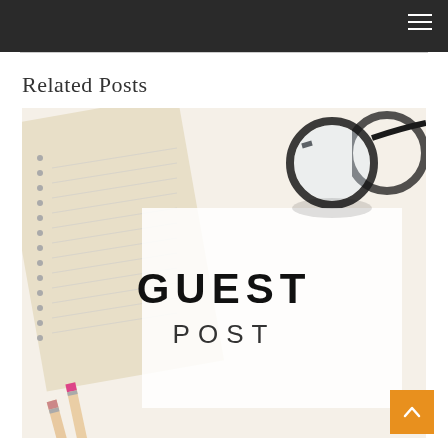Related Posts
[Figure (photo): A guest post image showing a notebook with ruled lines, pencils, and glasses laid on a white surface. Bold text reads 'GUEST POST' in the center.]